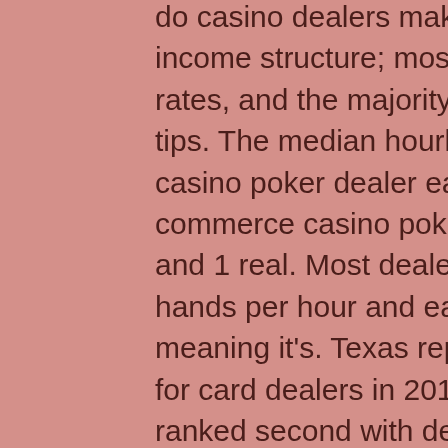do casino dealers make? Poker dealers have a unique income structure; most of them get paid low hourly rates, and the majority of what they make comes from tips. The median hourly rate. The average commerce casino poker dealer earns $32000 annually. Explore commerce casino poker dealer salaries by job location and 1 real. Most dealers will look to deal around 30 hands per hour and earn an average of $1 per hand, meaning it's. Texas reported the highest average salary for card dealers in 2011, $37,470 per year. Minnesota ranked second with dealers there earning an average annual According to the bureau of labor statistics, the average annual income of an entry-level casino dealer is $14,700. The salary is a little bit better for. Let's look at what casino dealers do and their average salaries. Job responsibilities of a casino dealer; how much money does. I loved the game and wanted to find a way i could make